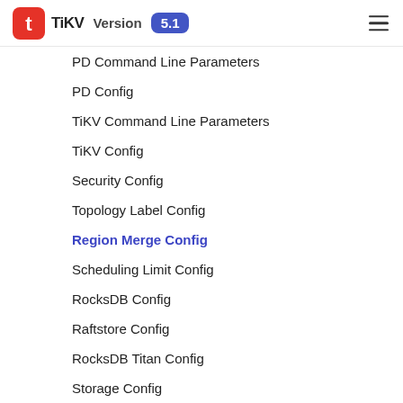TiKV Version 5.1
PD Command Line Parameters
PD Config
TiKV Command Line Parameters
TiKV Config
Security Config
Topology Label Config
Region Merge Config
Scheduling Limit Config
RocksDB Config
Raftstore Config
RocksDB Titan Config
Storage Config
gRPC Config
Coprocessor Config
Benchmark and Performance
Monitor and Alert